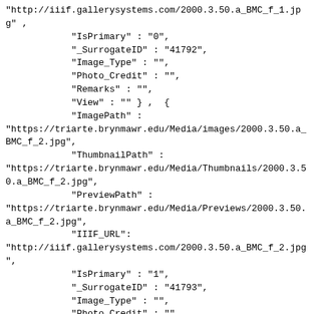"http://iiif.gallerysystems.com/2000.3.50.a_BMC_f_1.jpg" ,
            "IsPrimary" : "0",
            "_SurrogateID" : "41792",
            "Image_Type" : "",
            "Photo_Credit" : "",
            "Remarks" : "",
            "View" : "" } ,  {
            "ImagePath" :
"https://triarte.brynmawr.edu/Media/images/2000.3.50.a_BMC_f_2.jpg",
            "ThumbnailPath" :
"https://triarte.brynmawr.edu/Media/Thumbnails/2000.3.50.a_BMC_f_2.jpg",
            "PreviewPath" :
"https://triarte.brynmawr.edu/Media/Previews/2000.3.50.a_BMC_f_2.jpg",
            "IIIF_URL":
"http://iiif.gallerysystems.com/2000.3.50.a_BMC_f_2.jpg
",
            "IsPrimary" : "1",
            "_SurrogateID" : "41793",
            "Image_Type" : "",
            "Photo_Credit" : "",
            "Remarks" : "",
            "View" : "" } ,  {
            "ImagePath" :
"https://triarte.brynmawr.edu/Media/images/2000.3.50.a_BMC_r.jpg",
            "ThumbnailPath" :
"https://triarte.brynmawr.edu/Media/Thumbnails/2000.3.50.a_BMC_r.jpg",